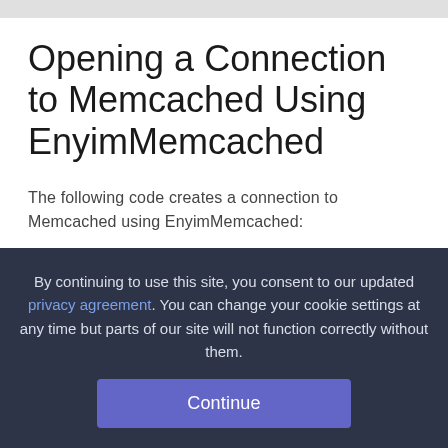Opening a Connection to Memcached Using EnyimMemcached
The following code creates a connection to Memcached using EnyimMemcached:
using Enyim.Caching;
using Enyim.Caching.Configuration;
By continuing to use this site, you consent to our updated privacy agreement. You can change your cookie settings at any time but parts of our site will not function correctly without them.
Continue